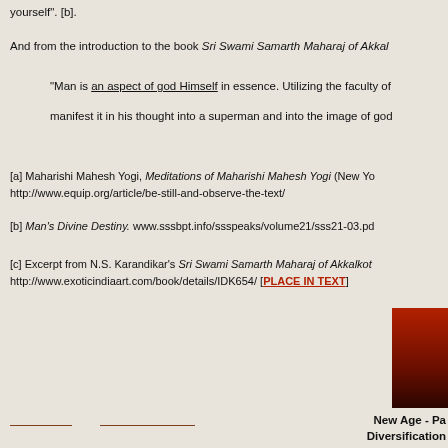yourself". [b].
And from the introduction to the book Sri Swami Samarth Maharaj of Akkal
"Man is an aspect of god Himself in essence. Utilizing the faculty of manifest it in his thought into a superman and into the image of god
[a] Maharishi Mahesh Yogi, Meditations of Maharishi Mahesh Yogi (New Yo http://www.equip.org/article/be-still-and-observe-the-text/
[b] Man's Divine Destiny. www.sssbpt.info/ssspeaks/volume21/sss21-03.pd
[c] Excerpt from N.S. Karandikar's Sri Swami Samarth Maharaj of Akkalkot http://www.exoticindiaart.com/book/details/IDK654/ [PLACE IN TEXT]
[Figure (illustration): Partial red/dark gradient book cover image on right side]
New Age - Pan Diversification